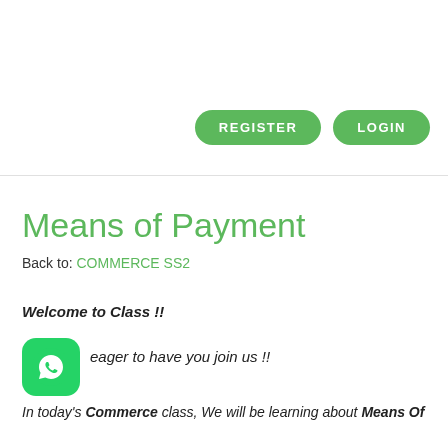[Figure (screenshot): Two green rounded button UI elements: REGISTER and LOGIN]
Means of Payment
Back to: COMMERCE SS2
Welcome to Class !!
[Figure (logo): WhatsApp green rounded square icon with phone handset]
eager to have you join us !!
In today's Commerce class, We will be learning about Means Of